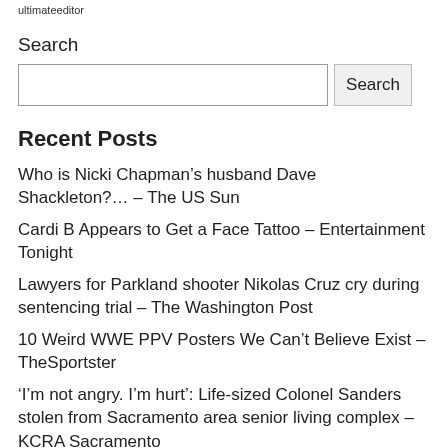ultimateeditor
Search
[Search input box] [Search button]
Recent Posts
Who is Nicki Chapman’s husband Dave Shackleton?... – The US Sun
Cardi B Appears to Get a Face Tattoo – Entertainment Tonight
Lawyers for Parkland shooter Nikolas Cruz cry during sentencing trial – The Washington Post
10 Weird WWE PPV Posters We Can’t Believe Exist – TheSportster
‘I’m not angry. I’m hurt’: Life-sized Colonel Sanders stolen from Sacramento area senior living complex – KCRA Sacramento